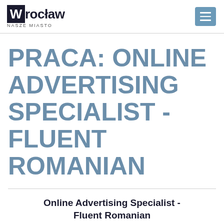Wrocław NASZE MIASTO
PRACA: ONLINE ADVERTISING SPECIALIST - FLUENT ROMANIAN
Online Advertising Specialist - Fluent Romanian
Work place: Wrocław